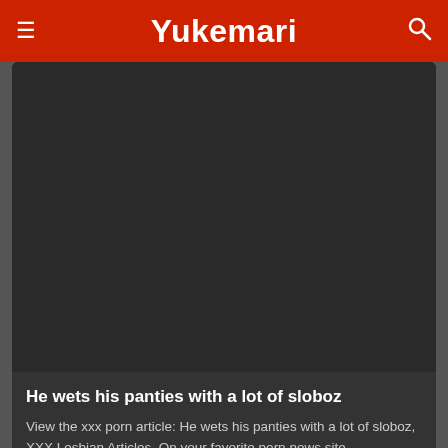Yukemari
[Figure (photo): Dark image placeholder for article thumbnail]
He wets his panties with a lot of sloboz
View the xxx porn article: He wets his panties with a lot of sloboz, XXX Lesbian Articles. On your favorite porn news site YUKEMARI.INFO!
4 Views · Likes 0
[Figure (photo): Dark image placeholder for second article thumbnail]